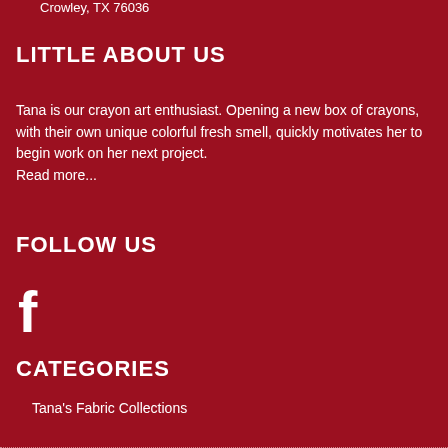Crowley, TX 76036
LITTLE ABOUT US
Tana is our crayon art enthusiast. Opening a new box of crayons, with their own unique colorful fresh smell, quickly motivates her to begin work on her next project. Read more...
FOLLOW US
[Figure (logo): Facebook icon - white lowercase f on dark red background]
CATEGORIES
Tana's Fabric Collections